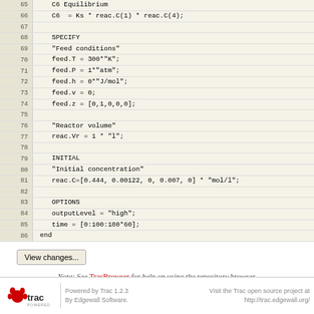[Figure (screenshot): Code viewer showing lines 65-86 of a chemical engineering simulation script with line numbers on left and code on right, including C6 equilibrium, SPECIFY, feed conditions, reactor volume, INITIAL, and OPTIONS sections]
View changes...
Note: See TracBrowser for help on using the repository browser.
Download in other formats:
Original Format
Powered by Trac 1.2.3 By Edgewall Software. | Visit the Trac open source project at http://trac.edgewall.org/